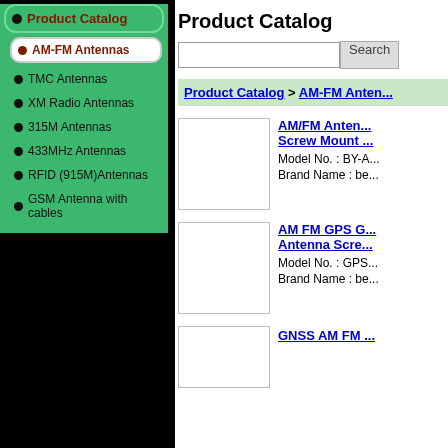Product Catalog
AM-FM Antennas
TMC Antennas
XM Radio Antennas
315M  Antennas
433MHz Antennas
RFID (915M)Antennas
GSM Antenna with cables
Product Catalog
Product Catalog > AM-FM Antennas
[Figure (photo): Product image placeholder for AM/FM Antenna Screw Mount]
AM/FM Antenna Screw Mount
Model No. : BY-A
Brand Name : be
[Figure (photo): Product image placeholder for AM FM GPS G... Antenna Screw Mount]
AM FM GPS G...
Antenna Screw Mount
Model No. : GPS
Brand Name : be
[Figure (photo): Product image placeholder for GNSS AM FM]
GNSS AM FM